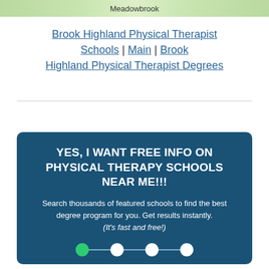[Figure (map): Partial map showing Meadowbrook area]
Brook Highland Physical Therapist Schools | Main | Brook Highland Physical Therapist Degrees
YES, I WANT FREE INFO ON PHYSICAL THERAPY SCHOOLS NEAR ME!!!
Search thousands of featured schools to find the best degree program for you. Get results instantly. (It's fast and free!)